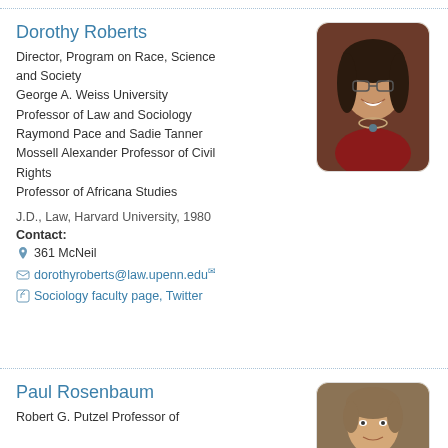Dorothy Roberts
Director, Program on Race, Science and Society
George A. Weiss University Professor of Law and Sociology
Raymond Pace and Sadie Tanner Mossell Alexander Professor of Civil Rights
Professor of Africana Studies
[Figure (photo): Headshot photo of Dorothy Roberts, a woman with glasses and dreadlocks, smiling, wearing a red top with a necklace.]
J.D., Law, Harvard University, 1980
Contact:
361 McNeil
dorothyroberts@law.upenn.edu
Sociology faculty page, Twitter
Paul Rosenbaum
Robert G. Putzel Professor of
[Figure (photo): Headshot photo of Paul Rosenbaum, a man with gray/brown hair.]